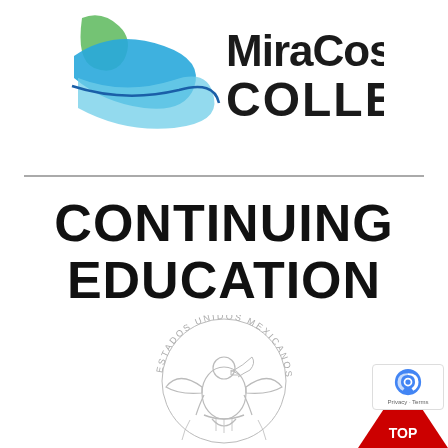[Figure (logo): MiraCosta College logo with blue and green swoosh graphic and bold text 'MiraCosta College']
CONTINUING EDUCATION
[Figure (illustration): Estados Unidos Mexicanos (Mexico) national seal/emblem in light gray]
[Figure (other): Red triangle 'TOP' button in bottom right corner, with reCAPTCHA badge overlay showing Privacy and Terms text]